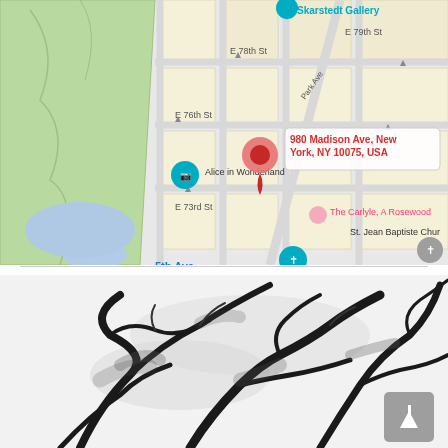[Figure (map): Google Maps screenshot showing 980 Madison Ave, New York, NY 10075, USA. Map shows Central Park area with streets E 73rd St, E 76th St, E 78th St, E 79th St, Park Ave. Landmarks visible: Skarstedt Gallery, Alice in Wonderland, Frick Madison, The Carlyle A Rosewood, St. Jean Baptiste Church, 77 St subway station. 5th Ave label shown. A red pin marks the location.]
[Figure (photo): Black and white photograph showing abstract blurry branches or tree limbs against a light background.]